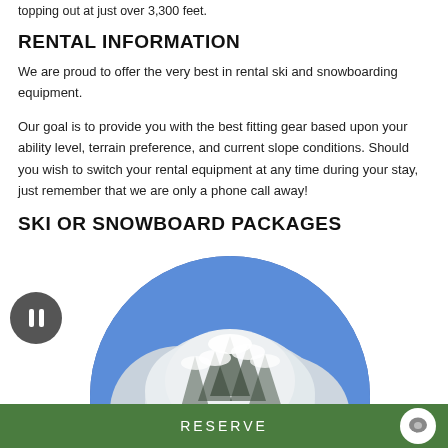topping out at just over 3,300 feet.
RENTAL INFORMATION
We are proud to offer the very best in rental ski and snowboarding equipment.
Our goal is to provide you with the best fitting gear based upon your ability level, terrain preference, and current slope conditions. Should you wish to switch your rental equipment at any time during your stay, just remember that we are only a phone call away!
SKI OR SNOWBOARD PACKAGES
[Figure (photo): Circular cropped photo of snow-covered trees against a blue sky, with a pause button overlay on the left side.]
RESERVE